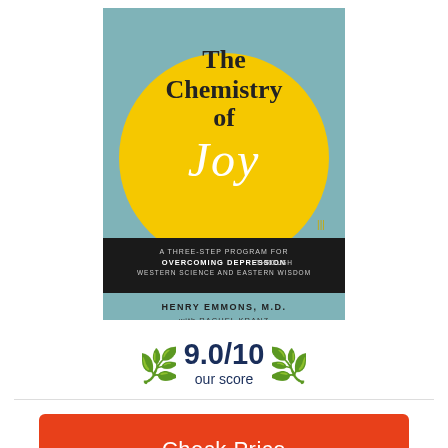[Figure (illustration): Book cover of 'The Chemistry of Joy' by Henry Emmons, M.D. with Rachel Kranz. Teal/blue-green cover with a large yellow circle containing the title text. Bottom portion has a black banner with subtitle text in uppercase: 'A THREE-STEP PROGRAM FOR OVERCOMING DEPRESSION THROUGH WESTERN SCIENCE AND EASTERN WISDOM'. Author name below in uppercase: 'HENRY EMMONS, M.D. with RACHEL KRANZ'.]
9.0/10 our score
Check Price